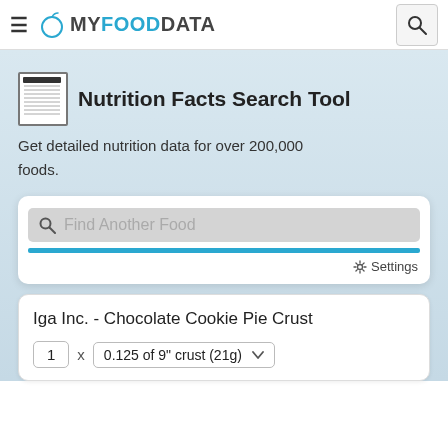MY FOOD DATA
Nutrition Facts Search Tool
Get detailed nutrition data for over 200,000 foods.
Find Another Food
Settings
Iga Inc. - Chocolate Cookie Pie Crust
1 x 0.125 of 9" crust (21g)